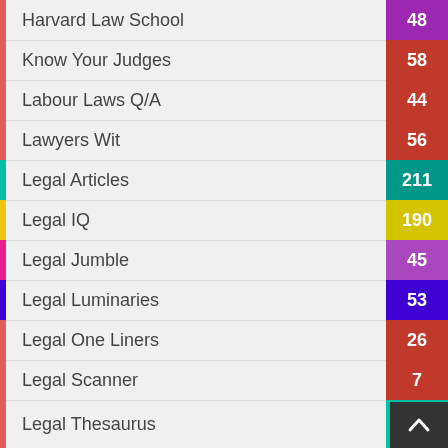Harvard Law School
Know Your Judges
Labour Laws Q/A
Lawyers Wit
Legal Articles
Legal IQ
Legal Jumble
Legal Luminaries
Legal One Liners
Legal Scanner
Legal Thesaurus